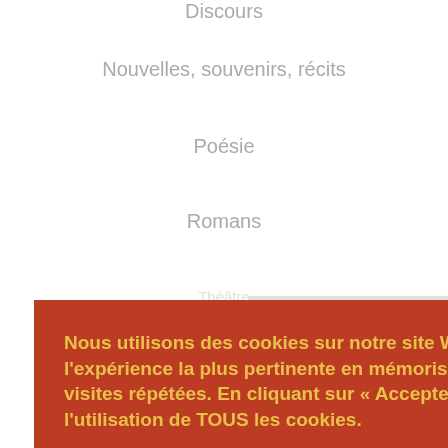Discours
Nouvelles, souvenirs, récits
Poésie
Romans
Théâtre
Journaux
[Figure (screenshot): Cookie consent dialog on red background with yellow text reading: Nous utilisons des cookies sur notre site Web pour vous offrir l'expérience la plus pertinente en mémorisant vos préférences et les visites répétées. En cliquant sur «Accepter», vous consentez à l'utilisation de TOUS les cookies. With link 'Paramètres des cookies' and two buttons: ACCEPTER and REJETER in teal/blue color.]
[Figure (other): Gray scroll-to-top button with upward arrow chevron on right side of page.]
[Figure (other): Google reCAPTCHA badge at bottom right with logo and Privacy - Terms text.]